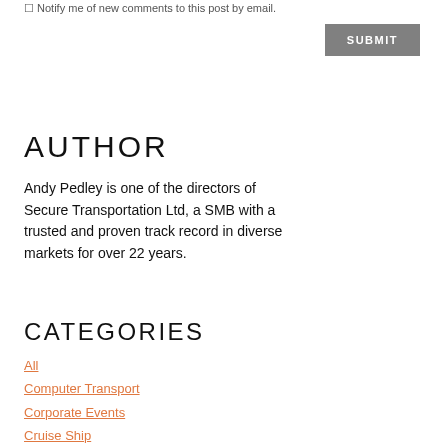Notify me of new comments to this post by email.
AUTHOR
Andy Pedley is one of the directors of Secure Transportation Ltd, a SMB with a trusted and proven track record in diverse markets for over 22 years.
CATEGORIES
All
Computer Transport
Corporate Events
Cruise Ship